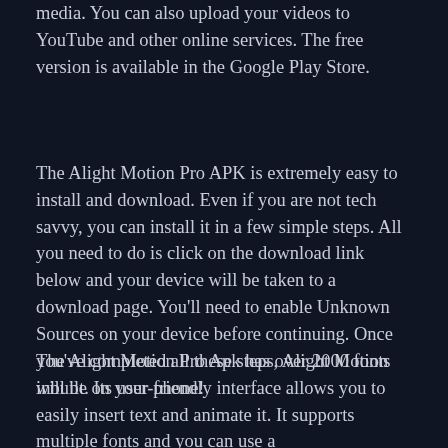media. You can also upload your videos to YouTube and other online services. The free version is available in the Google Play Store.
The Alight Motion Pro APK is extremely easy to install and download. Even if you are not tech savvy, you can install it in a few simple steps. All you need to do is click on the download link below and your device will be taken to a download page. You'll need to enable Unknown Sources on your device before continuing. Once you've completed all these steps, Alight Motion will be on your phone!
The Alight Motion Pro Apk has over 2000 fonts inbuilt. Its user-friendly interface allows you to easily insert text and animate it. It supports multiple fonts and you can use a